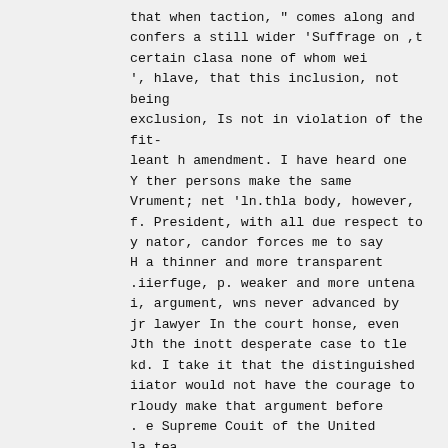that when taction, " comes along and confers a still wider 'Suffrage on ,t certain clasa none of whom wei ', hlave, that this inclusion, not being exclusion, Is not in violation of the fit-leant h amendment. I have heard one Y ther persons make the same Vrument; net 'ln.thla body, however, f. President, with all due respect to y nator, candor forces me to say H a thinner and more transparent .iierfuge, p. weaker and more untena i, argument, wns never advanced by jr lawyer In the court honse, even Jth the inott desperate case to tle kd. I take it that the distinguished iiator would not have the courage to rloudy make that argument before . e Supreme Couit of the United la tea.
I Bui the Senator cite an authority r Is as follows: McKierson vs. Block (HO U. S., page 1). He quotes the Allowing: